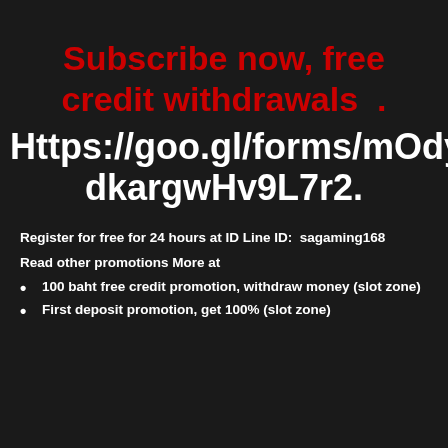Subscribe now, free credit withdrawals .
Https://goo.gl/forms/mOdydkargwHv9L7r2.
Register for free for 24 hours at ID Line ID:  sagaming168
Read other promotions More at
100 baht free credit promotion, withdraw money (slot zone)
First deposit promotion, get 100% (slot zone)